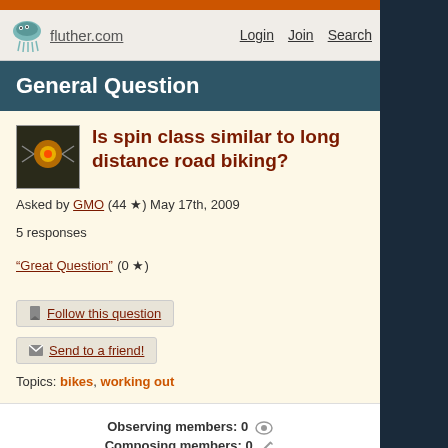fluther.com  Login  Join  Search
General Question
Is spin class similar to long distance road biking?
Asked by GMO (44) May 17th, 2009
5 responses
"Great Question" (0)
Follow this question
Send to a friend!
Topics: bikes, working out
Observing members: 0
Composing members: 0
Answers
Less chance of road rash.